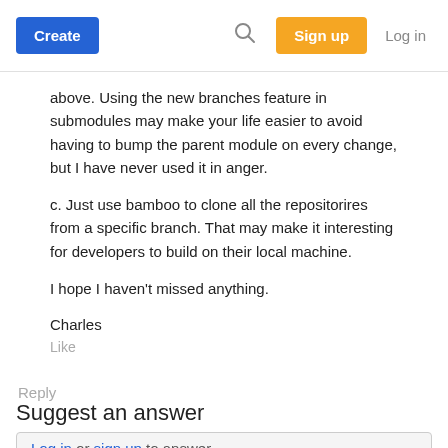Create | Sign up | Log in
above. Using the new branches feature in submodules may make your life easier to avoid having to bump the parent module on every change, but I have never used it in anger.
c. Just use bamboo to clone all the repositorires from a specific branch. That may make it interesting for developers to build on their local machine.
I hope I haven't missed anything.
Charles
Like
Reply
Suggest an answer
Log in or sign up to answer